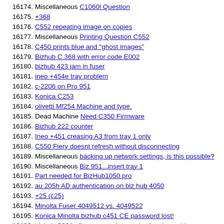16174. Miscellaneous C1060l Question
16175. +368
16176. C552 repeating image on copies
16177. Miscellaneous Printing Question C552
16178. C450 prints blue and "ghost images"
16179. Bizhub C 368 with error code E002
16180. bizhub 423 jam in fuser
16181. ineo +454e tray problem
16182. c-2206 on Pro 951
16183. Konica C253
16184. olivetti Mf254 Machine and type.
16185. Dead Machine Need C350 Firmware
16186. Bizhub 222 counter
16187. Ineo +451 creasing A3 from tray 1 only
16188. C550 Fiery doesnt refresh without disconnecting
16189. Miscellaneous backing up network settings, is this possible?
16190. Miscellaneous Biz 951...insert tray 1
16191. Part needed for BizHub1050 pro
16192. au 205h AD authentication on biz hub 4050
16193. +25 (c25)
16194. Minolta Fuser 4049512 vs. 4049522
16195. Konica Minolta bizhub c451 CE password lost!
16196. bizhub C364e firmware update and animation guide instalation
16197. delay for copy c35
16198. reset tool, A145FW.tar
16199. Error Code Bizhub 227: Requires regular inspection.
16200. C280 Print density Help?